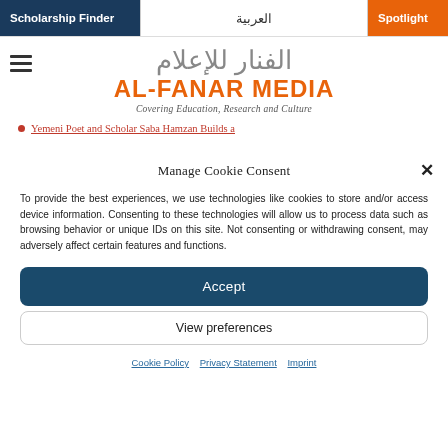Scholarship Finder | العربية | Spotlight
[Figure (logo): Al-Fanar Media logo with Arabic text and tagline 'Covering Education, Research and Culture']
Yemeni Poet and Scholar Saba Hamzan Builds a
Manage Cookie Consent
To provide the best experiences, we use technologies like cookies to store and/or access device information. Consenting to these technologies will allow us to process data such as browsing behavior or unique IDs on this site. Not consenting or withdrawing consent, may adversely affect certain features and functions.
Accept
View preferences
Cookie Policy | Privacy Statement | Imprint